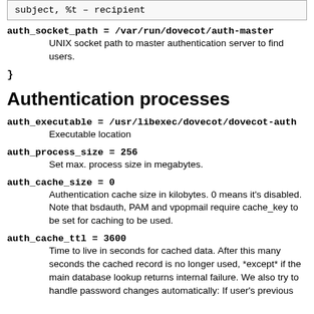subject, %t – recipient
auth_socket_path = /var/run/dovecot/auth-master
        UNIX socket path to master authentication server to find users.
}
Authentication processes
auth_executable = /usr/libexec/dovecot/dovecot-auth
        Executable location
auth_process_size = 256
        Set max. process size in megabytes.
auth_cache_size = 0
        Authentication cache size in kilobytes. 0 means it's disabled. Note that bsdauth, PAM and vpopmail require cache_key to be set for caching to be used.
auth_cache_ttl = 3600
        Time to live in seconds for cached data. After this many seconds the cached record is no longer used, *except* if the main database lookup returns internal failure. We also try to handle password changes automatically: If user's previous